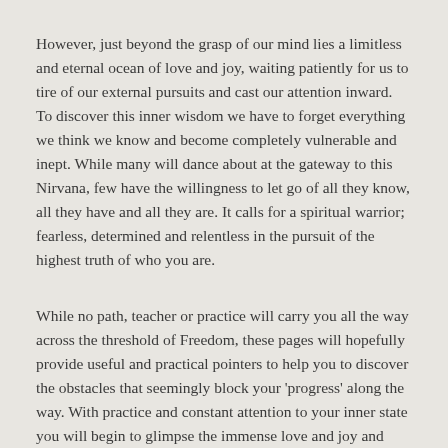However, just beyond the grasp of our mind lies a limitless and eternal ocean of love and joy, waiting patiently for us to tire of our external pursuits and cast our attention inward. To discover this inner wisdom we have to forget everything we think we know and become completely vulnerable and inept. While many will dance about at the gateway to this Nirvana, few have the willingness to let go of all they know, all they have and all they are. It calls for a spiritual warrior; fearless, determined and relentless in the pursuit of the highest truth of who you are.
While no path, teacher or practice will carry you all the way across the threshold of Freedom, these pages will hopefully provide useful and practical pointers to help you to discover the obstacles that seemingly block your 'progress' along the way. With practice and constant attention to your inner state you will begin to glimpse the immense love and joy and peace that lies just beyond the grasp of the mind, in the Heart. You will discover that 'That' which you have been seeking was within you all along...